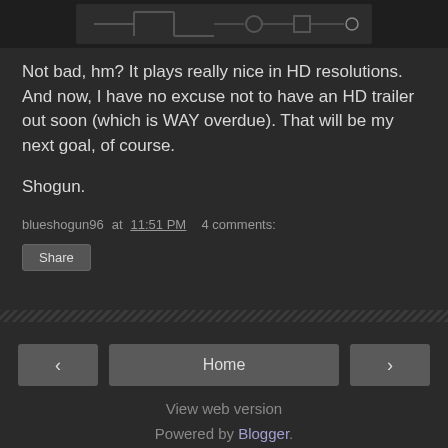[Figure (screenshot): Partial game screenshot showing stylized sci-fi/tech imagery in dark gray tones at top of page]
Not bad, hm?  It plays really nice in HD resolutions.  And now, I have no excuse not to have an HD trailer out soon (which is WAY overdue).  That will be my next goal, of course.
Shogun.
blueshogun96 at 11:51 PM  4 comments:
Share
View web version
Powered by Blogger.